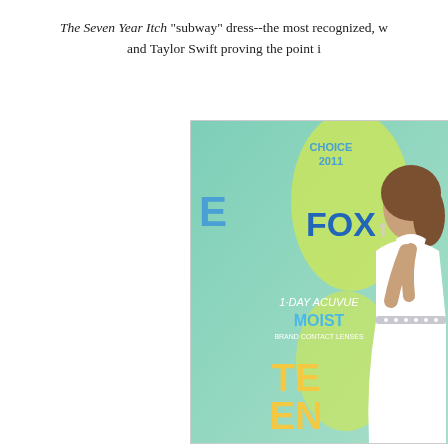The Seven Year Itch "subway" dress--the most recognized, w and Taylor Swift proving the point i
[Figure (photo): Taylor Swift in a white halter dress at the Teen Choice Awards 2011, posing in front of a green backdrop with FOX, 1-Day Acuvue Moist, and Teen Choice 2011 logos.]